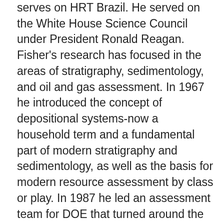serves on HRT Brazil. He served on the White House Science Council under President Ronald Reagan. Fisher's research has focused in the areas of stratigraphy, sedimentology, and oil and gas assessment. In 1967 he introduced the concept of depositional systems-now a household term and a fundamental part of modern stratigraphy and sedimentology, as well as the basis for modern resource assessment by class or play. In 1987 he led an assessment team for DOE that turned around the then-prevalent view of natural gas scarcity. He has championed the importance of technology in resource availability and has been a leader in the rethinking of the significance of reserve growth from existing, geologically complex oil and gas fields. Dr. Fisher served as Chair of the Committee on Management and Effects of Coalbed Methane Development and Produced Water in the Western United States, a committee of the US National